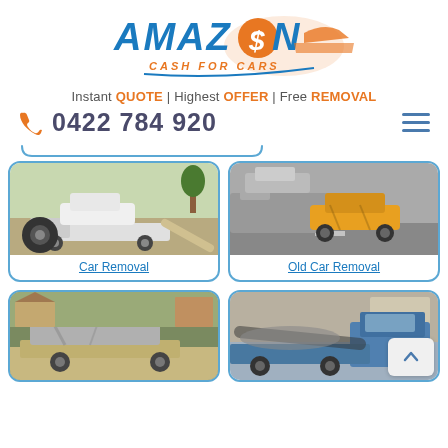[Figure (logo): Amazon Cash for Cars logo - blue text with orange car graphic and dollar sign]
Instant QUOTE | Highest OFFER | Free REMOVAL
0422 784 920
[Figure (photo): Car being loaded onto a flatbed tow truck - car removal service]
Car Removal
[Figure (photo): Old yellow and grey cars being transported on a car carrier truck - old car removal]
Old Car Removal
[Figure (photo): Wrecked old car on flatbed truck in outdoor setting]
[Figure (photo): Blue flatbed tow truck carrying scrap metal/wrecked vehicle]